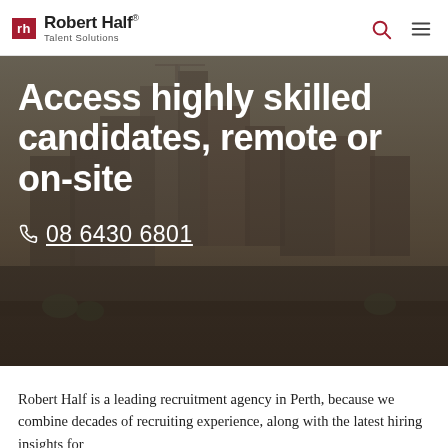rh Robert Half® Talent Solutions
Access highly skilled candidates, remote or on-site
☎ 08 6430 6801
Robert Half is a leading recruitment agency in Perth, because we combine decades of recruiting experience, along with the latest hiring insights for